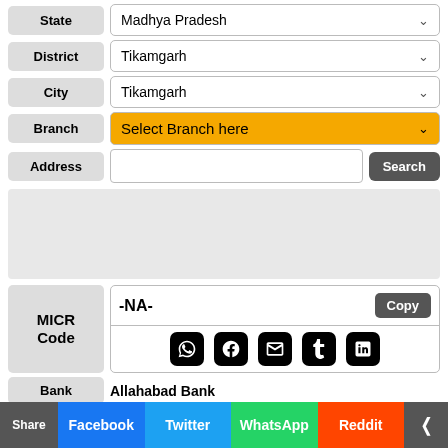[Figure (screenshot): Web form with dropdown fields: State (Madhya Pradesh), District (Tikamgarh), City (Tikamgarh), Branch (Select Branch here - orange), Address field with Search button]
[Figure (screenshot): Gray advertisement/content box placeholder]
| MICR Code | -NA- | Copy button | Social share icons (WhatsApp, Facebook, Email, Tumblr, LinkedIn) |
| --- | --- | --- | --- |
Bank: Allahabad Bank
Business
[Figure (screenshot): Share bar: Share | Facebook | Twitter | WhatsApp | Reddit | More]